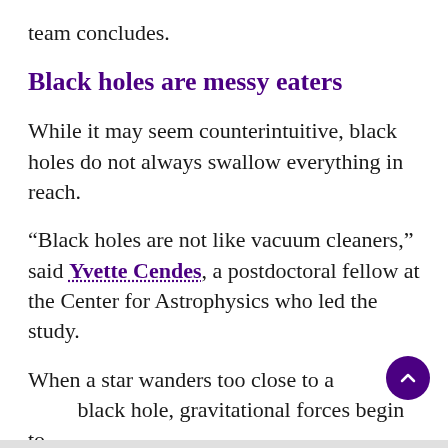team concludes.
Black holes are messy eaters
While it may seem counterintuitive, black holes do not always swallow everything in reach.
“Black holes are not like vacuum cleaners,” said Yvette Cendes, a postdoctoral fellow at the Center for Astrophysics who led the study.
When a star wanders too close to a black hole, gravitational forces begin to